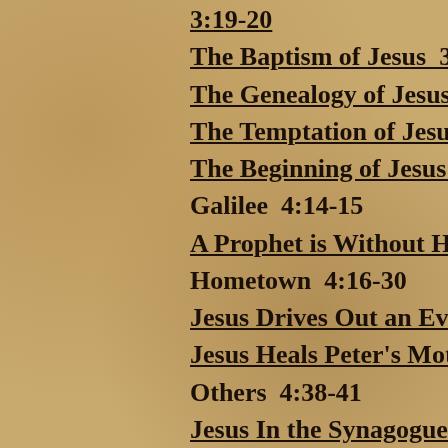3:19-20
The Baptism of Jesus  3
The Genealogy of Jesus
The Temptation of Jesus
The Beginning of Jesus'
Galilee  4:14-15
A Prophet is Without Ho
Hometown  4:16-30
Jesus Drives Out an Evi
Jesus Heals Peter's Moth
Others  4:38-41
Jesus In the Synagogues
The Calling of the Fi...